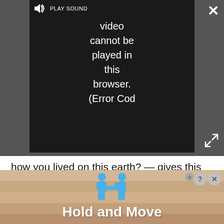[Figure (screenshot): Video player showing error message: 'PLAY SOUND Video cannot be played in this browser. (Error Cod' with speaker icon, close button (X), and expand icon. Dark background.]
how you lived on this earth? — gives this series enough philosophical quandaries to explore, which it tackles in a hilarious but really genuine way. There are also some great guest appearances along the way including Michael McKean and Maya Rudolph. And the epic series finale makes The Good Place more than just one of the best Netflix comedies — it's one of the best shows of recent history. — Jennifer Still
Rotten Tomatoes score: 97%
[Figure (screenshot): Advertisement banner with two blue cartoon figures and text 'Hold and Move' on a wooden background. Has close (X) and help (?) icons.]